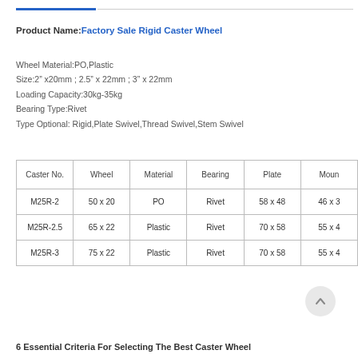Product Name: Factory Sale Rigid Caster Wheel
Wheel Material:PO,Plastic
Size:2" x20mm ; 2.5" x 22mm ; 3" x 22mm
Loading Capacity:30kg-35kg
Bearing Type:Rivet
Type Optional: Rigid,Plate Swivel,Thread Swivel,Stem Swivel
| Caster No. | Wheel | Material | Bearing | Plate | Moun |
| --- | --- | --- | --- | --- | --- |
| M25R-2 | 50 x 20 | PO | Rivet | 58 x 48 | 46 x 3 |
| M25R-2.5 | 65 x 22 | Plastic | Rivet | 70 x 58 | 55 x 4 |
| M25R-3 | 75 x 22 | Plastic | Rivet | 70 x 58 | 55 x 4 |
6 Essential Criteria For Selecting The Best Caster Wheel